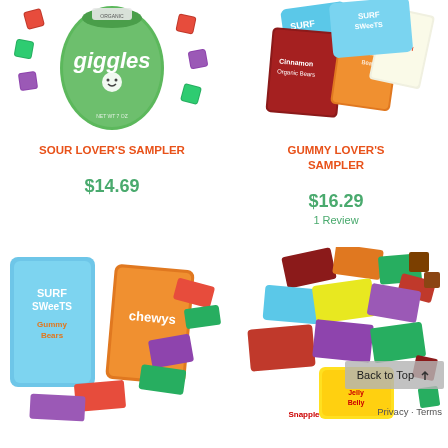[Figure (photo): Sour Lover's Sampler product image showing green Giggles organic candy bag with colorful square candies scattered around it]
SOUR LOVER'S SAMPLER
$14.69
[Figure (photo): Gummy Lover's Sampler product image showing Surf Sweets, Cinnamon Organic Bears, and YumEarth candy packages]
GUMMY LOVER'S SAMPLER
$16.29
1 Review
[Figure (photo): Bottom left product image showing Surf Sweets Gummy Bears, Chewys, and assorted candy packages]
[Figure (photo): Bottom right product image showing assorted candy packages and Snapple gummy bears with Jelly Belly]
Back to Top
Privacy · Terms